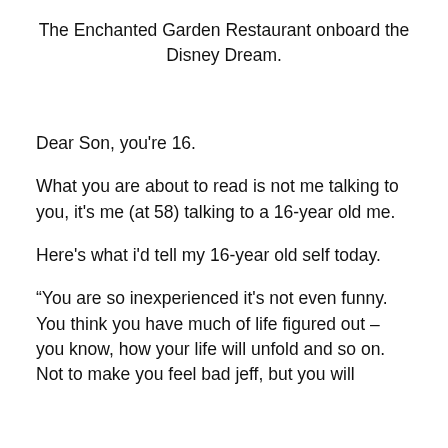The Enchanted Garden Restaurant onboard the Disney Dream.
Dear Son, you're 16.
What you are about to read is not me talking to you, it's me (at 58) talking to a 16-year old me.
Here's what i'd tell my 16-year old self today.
“You are so inexperienced it's not even funny. You think you have much of life figured out – you know, how your life will unfold and so on. Not to make you feel bad jeff, but you will